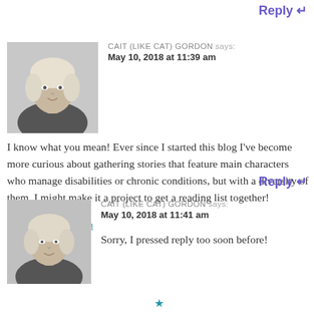Reply
[Figure (photo): Black and white portrait photo of a blonde woman (Cait Gordon avatar)]
CAIT (LIKE CAT) GORDON says:
May 10, 2018 at 11:39 am
I know what you mean! Ever since I started this blog I've become more curious about gathering stories that feature main characters who manage disabilities or chronic conditions, but with a diversity of them. I might make it a project to get a reading list together!
★ Liked by 1 person
Reply
[Figure (photo): Black and white portrait photo of a blonde woman (Cait Gordon avatar)]
CAIT (LIKE CAT) GORDON says:
May 10, 2018 at 11:41 am
Sorry, I pressed reply too soon before!